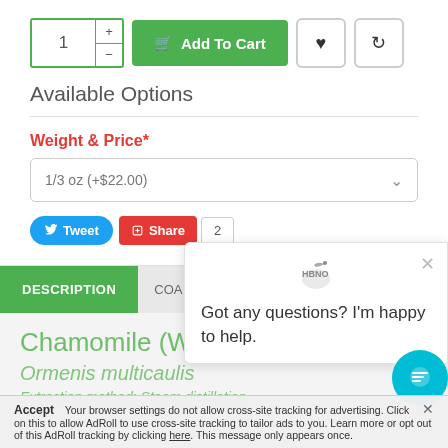1  +  -  Add To Cart
Available Options
Weight & Price*
1/3 oz (+$22.00)
Tweet  Share  2
DESCRIPTION  COA DOW...
Chamomile (Wild) Essential Oil
Ormenis multicaulis
Extraction method: Steam distillation
[Figure (screenshot): Chat popup with HBNO logo and text: Got any questions? I'm happy to help. With close X button.]
Accept  x  Your browser settings do not allow cross-site tracking for advertising. Click on this to allow AdRoll to use cross-site tracking to tailor ads to you. Learn more or opt out of this AdRoll tracking by clicking here. This message only appears once.